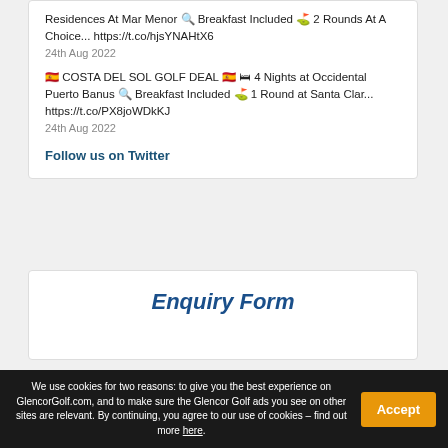Residences At Mar Menor 🔍 Breakfast Included 🏌️ 2 Rounds At A Choice... https://t.co/hjsYNAHtX6
24th Aug 2022
🇪🇸 COSTA DEL SOL GOLF DEAL 🇪🇸 🛏️ 4 Nights at Occidental Puerto Banus 🔍 Breakfast Included 🏌️ 1 Round at Santa Clar... https://t.co/PX8joWDkKJ
24th Aug 2022
Follow us on Twitter
Enquiry Form
We use cookies for two reasons: to give you the best experience on GlencorGolf.com, and to make sure the Glencor Golf ads you see on other sites are relevant. By continuing, you agree to our use of cookies – find out more here.